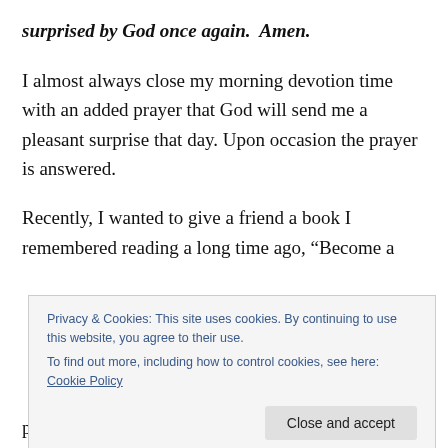surprised by God once again.  Amen.
I almost always close my morning devotion time with an added prayer that God will send me a pleasant surprise that day. Upon occasion the prayer is answered.
Recently, I wanted to give a friend a book I remembered reading a long time ago, “Become a
Privacy & Cookies: This site uses cookies. By continuing to use this website, you agree to their use.
To find out more, including how to control cookies, see here: Cookie Policy
problems she is facing at this time.